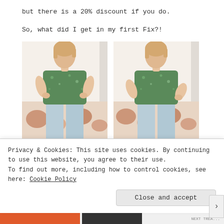but there is a 20% discount if you do.
So, what did I get in my first Fix?!
[Figure (photo): Two side-by-side photos of a woman wearing a green floral short-sleeve top and light blue jeans, posed in a bedroom setting.]
Privacy & Cookies: This site uses cookies. By continuing to use this website, you agree to their use.
To find out more, including how to control cookies, see here: Cookie Policy
Close and accept